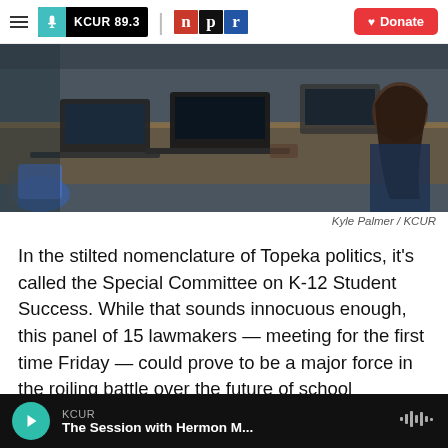KCUR 89.3 | npr | Donate
[Figure (photo): Students sitting at desks with laptops open in a classroom setting, viewed from behind/side]
Kyle Palmer / KCUR
In the stilted nomenclature of Topeka politics, it's called the Special Committee on K-12 Student Success. While that sounds innocuous enough, this panel of 15 lawmakers — meeting for the first time Friday — could prove to be a major force in the roiling battle over the future of school spending in the state.
KCUR | The Session with Hermon M...